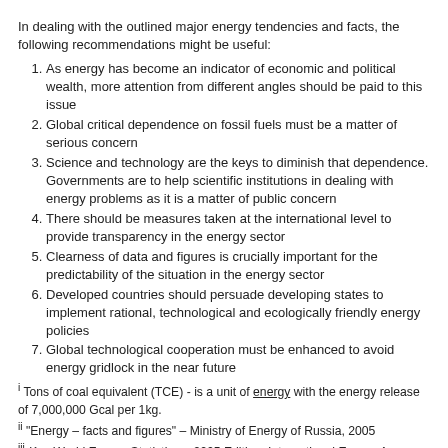In dealing with the outlined major energy tendencies and facts, the following recommendations might be useful:
As energy has become an indicator of economic and political wealth, more attention from different angles should be paid to this issue
Global critical dependence on fossil fuels must be a matter of serious concern
Science and technology are the keys to diminish that dependence. Governments are to help scientific institutions in dealing with energy problems as it is a matter of public concern
There should be measures taken at the international level to provide transparency in the energy sector
Clearness of data and figures is crucially important for the predictability of the situation in the energy sector
Developed countries should persuade developing states to implement rational, technological and ecologically friendly energy policies
Global technological cooperation must be enhanced to avoid energy gridlock in the near future
i Tons of coal equivalent (TCE) - is a unit of energy with the energy release of 7,000,000 Gcal per 1kg.
ii "Energy – facts and figures" – Ministry of Energy of Russia, 2005
iii Key World Energy Statistics -- 2005 Edition, International Energy Agency
iv Global Energy Report http://geo.1september.ru/articlef.php?ID=200203103
v "Buried Losses: The Journey from Plant to Coal"